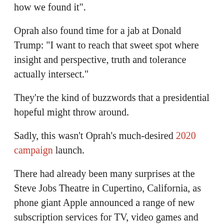how we found it".
Oprah also found time for a jab at Donald Trump: "I want to reach that sweet spot where insight and perspective, truth and tolerance actually intersect."
They're the kind of buzzwords that a presidential hopeful might throw around.
Sadly, this wasn't Oprah's much-desired 2020 campaign launch.
There had already been many surprises at the Steve Jobs Theatre in Cupertino, California, as phone giant Apple announced a range of new subscription services for TV, video games and news, and then spent a solid half-hour flexing their biggest gets.